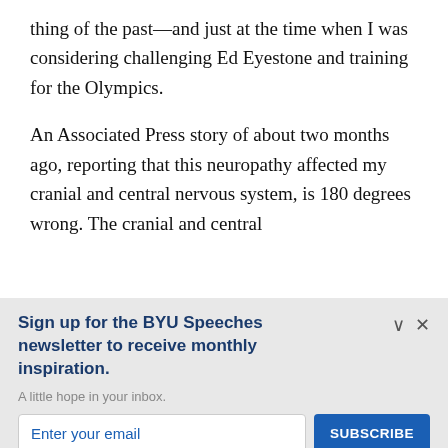thing of the past—and just at the time when I was considering challenging Ed Eyestone and training for the Olympics.
An Associated Press story of about two months ago, reporting that this neuropathy affected my cranial and central nervous system, is 180 degrees wrong. The cranial and central
Sign up for the BYU Speeches newsletter to receive monthly inspiration.
A little hope in your inbox.
Enter your email
SUBSCRIBE